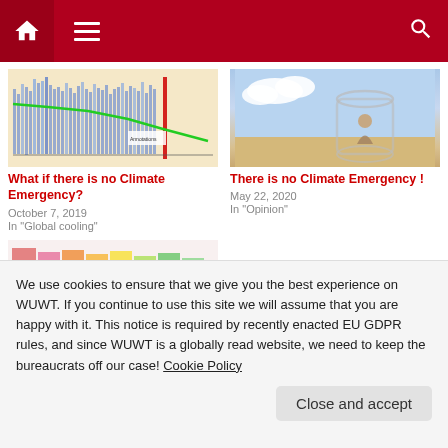WUWT navigation bar with home, menu, and search icons
[Figure (screenshot): Climate chart showing temperature/CO2 data over time with blue bars and green line]
What if there is no Climate Emergency?
October 7, 2019
In "Global cooling"
[Figure (photo): Woman sitting inside a glass jar on a beach]
There is no Climate Emergency !
May 22, 2020
In "Opinion"
[Figure (screenshot): Colorful bar chart with pink, orange, yellow, and green columns]
We use cookies to ensure that we give you the best experience on WUWT. If you continue to use this site we will assume that you are happy with it. This notice is required by recently enacted EU GDPR rules, and since WUWT is a globally read website, we need to keep the bureaucrats off our case! Cookie Policy
Close and accept